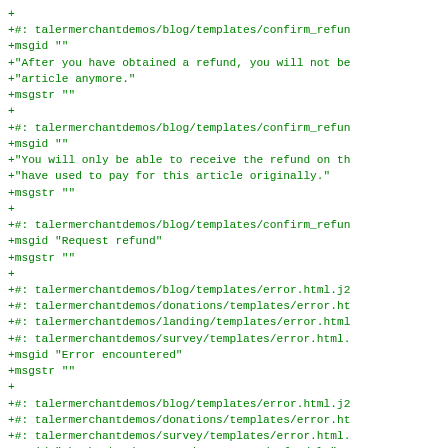+
+#: talermerchantdemos/blog/templates/confirm_refun
+msgid ""
+"After you have obtained a refund, you will not be
+"article anymore."
+msgstr ""
+
+#: talermerchantdemos/blog/templates/confirm_refun
+msgid ""
+"You will only be able to receive the refund on th
+"have used to pay for this article originally."
+msgstr ""
+
+#: talermerchantdemos/blog/templates/confirm_refun
+msgid "Request refund"
+msgstr ""
+
+#: talermerchantdemos/blog/templates/error.html.j2
+#: talermerchantdemos/donations/templates/error.ht
+#: talermerchantdemos/landing/templates/error.html
+#: talermerchantdemos/survey/templates/error.html.
+msgid "Error encountered"
+msgstr ""
+
+#: talermerchantdemos/blog/templates/error.html.j2
+#: talermerchantdemos/donations/templates/error.ht
+#: talermerchantdemos/survey/templates/error.html.
+msgid "The backend returned status code {code}."
+msgstr ""
+